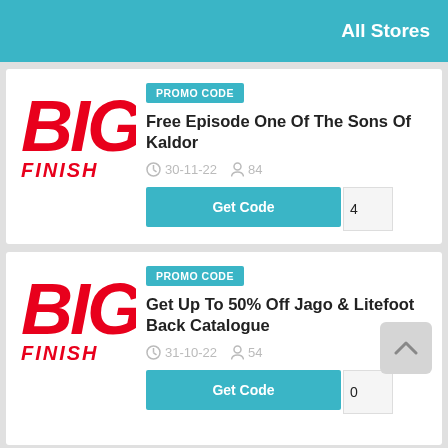All Stores
[Figure (logo): Big Finish logo - red bold italic text BIG over FINISH]
PROMO CODE
Free Episode One Of The Sons Of Kaldor
30-11-22  84
Get Code  4
[Figure (logo): Big Finish logo - red bold italic text BIG over FINISH]
PROMO CODE
Get Up To 50% Off Jago & Litefoot Back Catalogue
31-10-22  54
Get Code  0